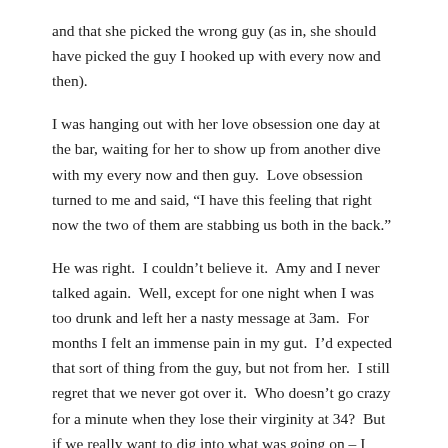and that she picked the wrong guy (as in, she should have picked the guy I hooked up with every now and then).
I was hanging out with her love obsession one day at the bar, waiting for her to show up from another dive with my every now and then guy. Love obsession turned to me and said, “I have this feeling that right now the two of them are stabbing us both in the back.”
He was right. I couldn’t believe it. Amy and I never talked again. Well, except for one night when I was too drunk and left her a nasty message at 3am. For months I felt an immense pain in my gut. I’d expected that sort of thing from the guy, but not from her. I still regret that we never got over it. Who doesn’t go crazy for a minute when they lose their virginity at 34? But if we really want to dig into what was going on – I think she couldn’t handle that she wasn’t the star of the show.